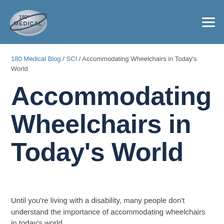[Figure (logo): 180 Medical logo — silver oval with '180°' text and 'MEDICAL' text, with a dark orbital ring around it]
180 Medical Blog / SCI / Accommodating Wheelchairs in Today's World
Accommodating Wheelchairs in Today's World
Until you're living with a disability, many people don't understand the importance of accommodating wheelchairs in today's world.